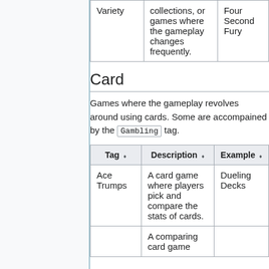| Tag | Description | Example |
| --- | --- | --- |
| Variety | collections, or games where the gameplay changes frequently. | Four Second Fury |
Card
Games where the gameplay revolves around using cards. Some are accompained by the Gambling tag.
| Tag ⬧ | Description ⬧ | Example ⬧ |
| --- | --- | --- |
| Ace Trumps | A card game where players pick and compare the stats of cards. | Dueling Decks |
|  | A comparing card game |  |